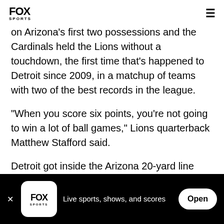FOX SPORTS
on Arizona's first two possessions and the Cardinals held the Lions without a touchdown, the first time that's happened to Detroit since 2009, in a matchup of teams with two of the best records in the league.
"When you score six points, you're not going to win a lot of ball games," Lions quarterback Matthew Stafford said.
Detroit got inside the Arizona 20-yard line only once,
Live sports, shows, and scores